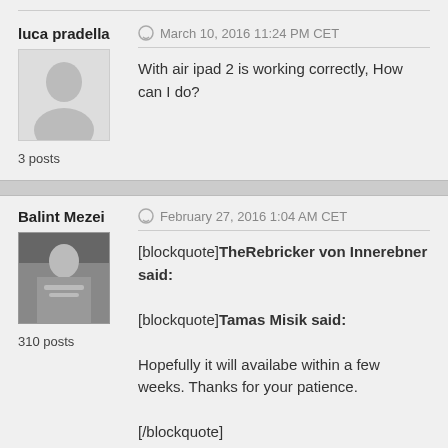luca pradella
March 10, 2016 11:24 PM CET
With air ipad 2 is working correctly, How can I do?
3 posts
Balint Mezei
February 27, 2016 1:04 AM CET
[blockquote]TheRebricker von Innerebner said:
[blockquote]Tamas Misik said:
Hopefully it will availabe within a few weeks. Thanks for your patience.
[/blockquote]
310 posts